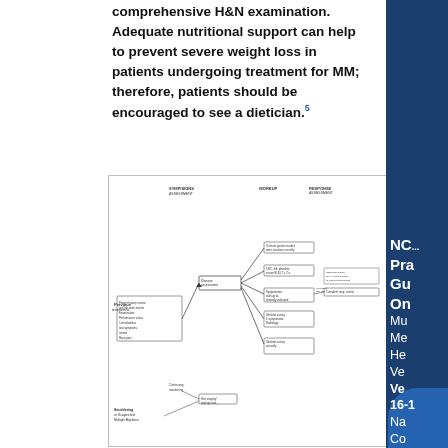comprehensive H&N examination. Adequate nutritional support can help to prevent severe weight loss in patients undergoing treatment for MM; therefore, patients should be encouraged to see a dietician.5
[Figure (flowchart): NCCN Clinical Practice Guidelines on Multiple Myeloma Health flowchart diagram showing treatment decision pathways for multiple myeloma]
NCCN Practice Guidelines On Multiple Myeloma Health Version Ver 16-1 National Comprehensive Cancer Network, Inc.